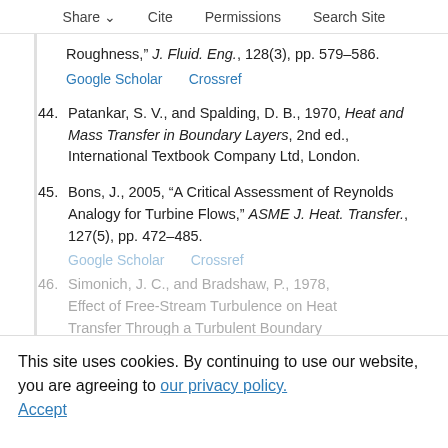Share  Cite  Permissions  Search Site
Roughness," J. Fluid. Eng., 128(3), pp. 579–586.
Google Scholar    Crossref
44. Patankar, S. V., and Spalding, D. B., 1970, Heat and Mass Transfer in Boundary Layers, 2nd ed., International Textbook Company Ltd, London.
45. Bons, J., 2005, "A Critical Assessment of Reynolds Analogy for Turbine Flows," ASME J. Heat. Transfer., 127(5), pp. 472–485.
Google Scholar    Crossref
46. Simonich, J. C., and Bradshaw, P., 1978, Effect of Free-Stream Turbulence on Heat Transfer Through a Turbulent Boundary...
This site uses cookies. By continuing to use our website, you are agreeing to our privacy policy.
Accept